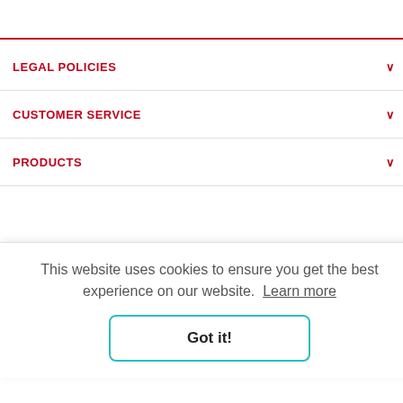LEGAL POLICIES
CUSTOMER SERVICE
PRODUCTS
[Figure (logo): Partial brand logo with stylized bird/wing shape in red and black lines]
This website uses cookies to ensure you get the best experience on our website. Learn more
Got it!